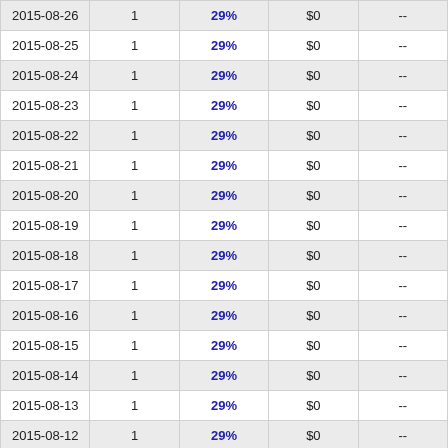| Date | Count | Percent | Amount | Change |
| --- | --- | --- | --- | --- |
| 2015-08-26 | 1 | 29% | $0 | -- |
| 2015-08-25 | 1 | 29% | $0 | -- |
| 2015-08-24 | 1 | 29% | $0 | -- |
| 2015-08-23 | 1 | 29% | $0 | -- |
| 2015-08-22 | 1 | 29% | $0 | -- |
| 2015-08-21 | 1 | 29% | $0 | -- |
| 2015-08-20 | 1 | 29% | $0 | -- |
| 2015-08-19 | 1 | 29% | $0 | -- |
| 2015-08-18 | 1 | 29% | $0 | -- |
| 2015-08-17 | 1 | 29% | $0 | -- |
| 2015-08-16 | 1 | 29% | $0 | -- |
| 2015-08-15 | 1 | 29% | $0 | -- |
| 2015-08-14 | 1 | 29% | $0 | -- |
| 2015-08-13 | 1 | 29% | $0 | -- |
| 2015-08-12 | 1 | 29% | $0 | -- |
| 2015-08-11 | 1 | 29% | $0 | -- |